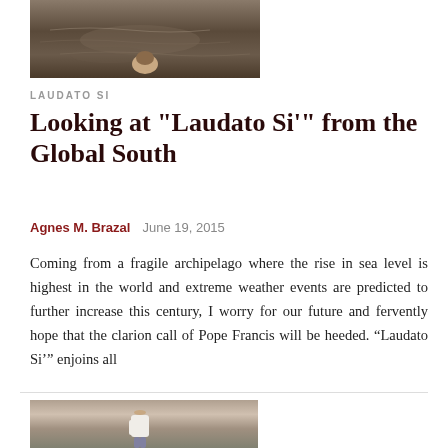[Figure (photo): Top photo showing water surface with a person partially visible, brownish water tones]
LAUDATO SI
Looking at "Laudato Si'" from the Global South
Agnes M. Brazal   June 19, 2015
Coming from a fragile archipelago where the rise in sea level is highest in the world and extreme weather events are predicted to further increase this century, I worry for our future and fervently hope that the clarion call of Pope Francis will be heeded. “Laudato Si’” enjoins all
[Figure (photo): Bottom photo showing a person from behind, standing, wearing a white top, against a light background]